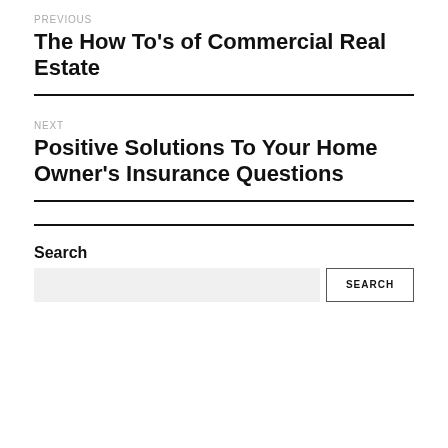PREVIOUS
The How To's of Commercial Real Estate
NEXT
Positive Solutions To Your Home Owner's Insurance Questions
Search